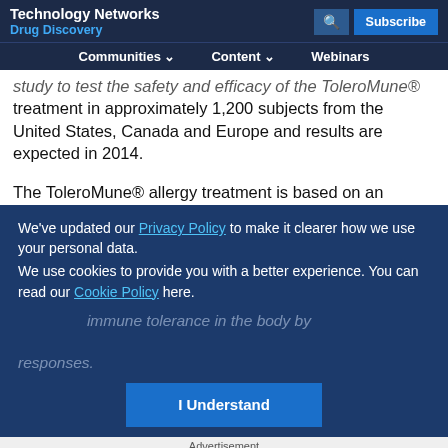Technology Networks Drug Discovery | Communities | Content | Webinars | Subscribe
study to test the safety and efficacy of the ToleroMune® treatment in approximately 1,200 subjects from the United States, Canada and Europe and results are expected in 2014.
The ToleroMune® allergy treatment is based on an
We've updated our Privacy Policy to make it clearer how we use your personal data.
We use cookies to provide you with a better experience. You can read our Cookie Policy here.
immune tolerance in the body by ... responses.
I Understand
Advertisement
[Figure (other): ThermoFisher Scientific advertisement banner with lab glassware and 'Learn more' button, thermo scientific logo]